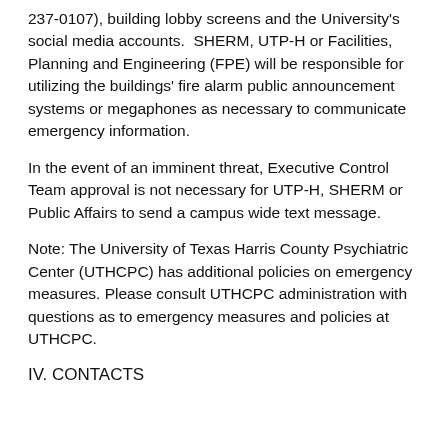237-0107), building lobby screens and the University's social media accounts.  SHERM, UTP-H or Facilities, Planning and Engineering (FPE) will be responsible for utilizing the buildings' fire alarm public announcement systems or megaphones as necessary to communicate emergency information.
In the event of an imminent threat, Executive Control Team approval is not necessary for UTP-H, SHERM or Public Affairs to send a campus wide text message.
Note: The University of Texas Harris County Psychiatric Center (UTHCPC) has additional policies on emergency measures. Please consult UTHCPC administration with questions as to emergency measures and policies at UTHCPC.
IV. CONTACTS